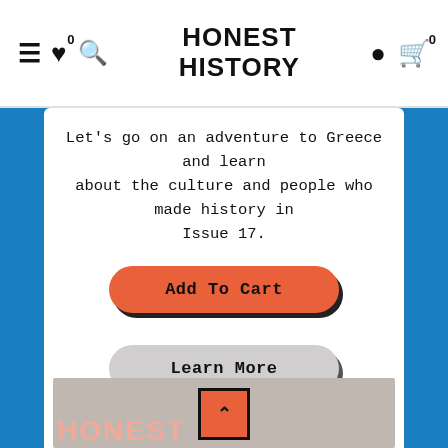Honest History — navigation header with menu, wishlist (0), search, logo, account, cart (0)
Let's go on an adventure to Greece and learn about the culture and people who made history in Issue 17.
Add To Cart
Learn More
[Figure (screenshot): Bottom card showing partial image of Honest History magazine cover with coral/pink text on beige background, and an orange scroll-up button with an up caret overlaid.]